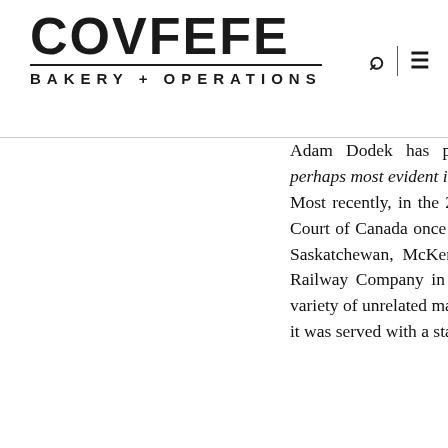COVFEFE BAKERY + OPERATIONS
Adam Dodek has previously, that [t]he tension between judicial regulation and self-regulation is perhaps most evident in the area of conflicts of interest.”185 Most recently, in the 2013 case of Canadian National Railway Co. v. McKercher LLP,186 the Supreme Court of Canada once again considered the issue of lawyer conflicts. This case involved a large firm in Saskatchewan, McKercher LLP, that had accepted a retainer to act against the Canadian National Railway Company in a class action lawsuit notwithstanding the fact that it was acting for CN on a variety of unrelated matters. CN only learned of McKercher’s involvement in the class action matter once it was served with a statement of claim. In the month before serving the statement of claim and in the